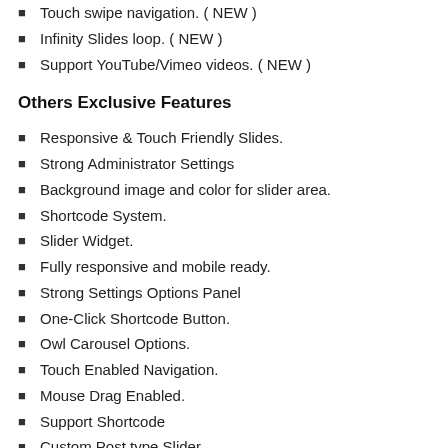Touch swipe navigation. ( NEW )
Infinity Slides loop. ( NEW )
Support YouTube/Vimeo videos. ( NEW )
Others Exclusive Features
Responsive & Touch Friendly Slides.
Strong Administrator Settings
Background image and color for slider area.
Shortcode System.
Slider Widget.
Fully responsive and mobile ready.
Strong Settings Options Panel
One-Click Shortcode Button.
Owl Carousel Options.
Touch Enabled Navigation.
Mouse Drag Enabled.
Support Shortcode
Custom Post type Slider.
Support Images/Videos/Description